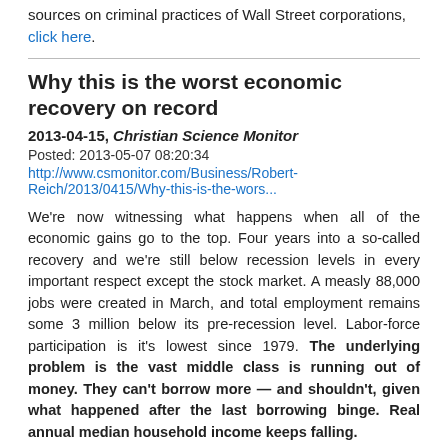sources on criminal practices of Wall Street corporations, click here.
Why this is the worst economic recovery on record
2013-04-15, Christian Science Monitor
Posted: 2013-05-07 08:20:34
http://www.csmonitor.com/Business/Robert-Reich/2013/0415/Why-this-is-the-wors...
We're now witnessing what happens when all of the economic gains go to the top. Four years into a so-called recovery and we're still below recession levels in every important respect except the stock market. A measly 88,000 jobs were created in March, and total employment remains some 3 million below its pre-recession level. Labor-force participation is it's lowest since 1979. The underlying problem is the vast middle class is running out of money. They can't borrow more — and shouldn't, given what happened after the last borrowing binge. Real annual median household income keeps falling.